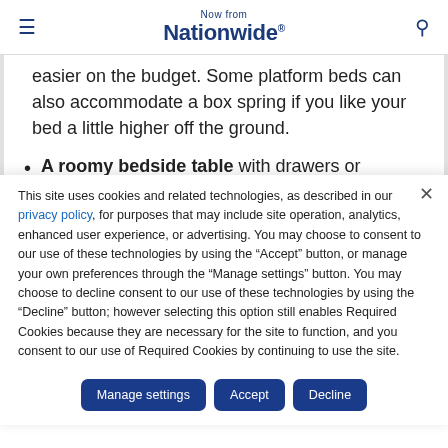Now from Nationwide®
easier on the budget. Some platform beds can also accommodate a box spring if you like your bed a little higher off the ground.
A roomy bedside table with drawers or
This site uses cookies and related technologies, as described in our privacy policy, for purposes that may include site operation, analytics, enhanced user experience, or advertising. You may choose to consent to our use of these technologies by using the "Accept" button, or manage your own preferences through the "Manage settings" button. You may choose to decline consent to our use of these technologies by using the "Decline" button; however selecting this option still enables Required Cookies because they are necessary for the site to function, and you consent to our use of Required Cookies by continuing to use the site.